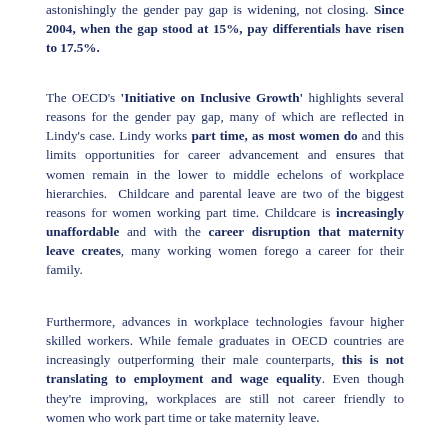astonishingly the gender pay gap is widening, not closing. Since 2004, when the gap stood at 15%, pay differentials have risen to 17.5%.
The OECD's 'Initiative on Inclusive Growth' highlights several reasons for the gender pay gap, many of which are reflected in Lindy's case. Lindy works part time, as most women do and this limits opportunities for career advancement and ensures that women remain in the lower to middle echelons of workplace hierarchies. Childcare and parental leave are two of the biggest reasons for women working part time. Childcare is increasingly unaffordable and with the career disruption that maternity leave creates, many working women forego a career for their family.
Furthermore, advances in workplace technologies favour higher skilled workers. While female graduates in OECD countries are increasingly outperforming their male counterparts, this is not translating to employment and wage equality. Even though they're improving, workplaces are still not career friendly to women who work part time or take maternity leave.